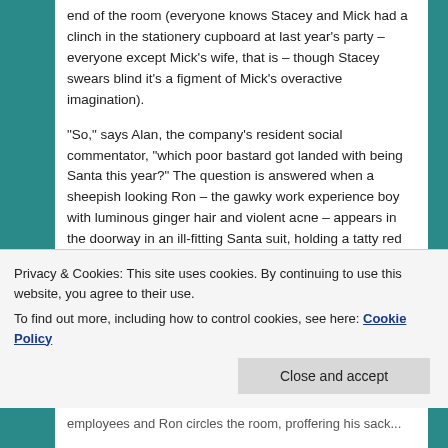end of the room (everyone knows Stacey and Mick had a clinch in the stationery cupboard at last year's party – everyone except Mick's wife, that is – though Stacey swears blind it's a figment of Mick's overactive imagination).
“So,” says Alan, the company’s resident social commentator, “which poor bastard got landed with being Santa this year?” The question is answered when a sheepish looking Ron – the gawky work experience boy with luminous ginger hair and violent acne – appears in the doorway in an ill-fitting Santa suit, holding a tatty red sack.
Privacy & Cookies: This site uses cookies. By continuing to use this website, you agree to their use.
To find out more, including how to control cookies, see here: Cookie Policy
employees and Ron circles the room, proffering his sack...